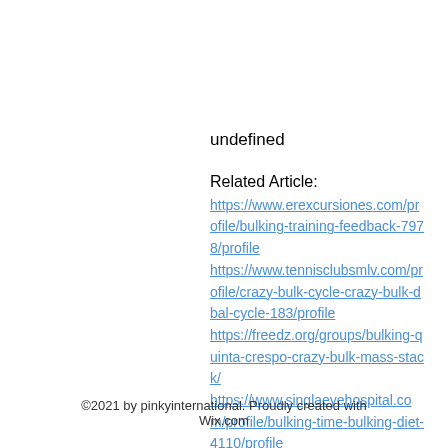undefined
Related Article:
https://www.erexcursiones.com/profile/bulking-training-feedback-7978/profile
https://www.tennisclubsmlv.com/profile/crazy-bulk-cycle-crazy-bulk-dbal-cycle-183/profile
https://freedz.org/groups/bulking-quinta-crespo-crazy-bulk-mass-stack/
https://www.singlaeyehospital.com/profile/bulking-time-bulking-diet-4110/profile
©2021 by pinkyinternational. Proudly created with Wix.com